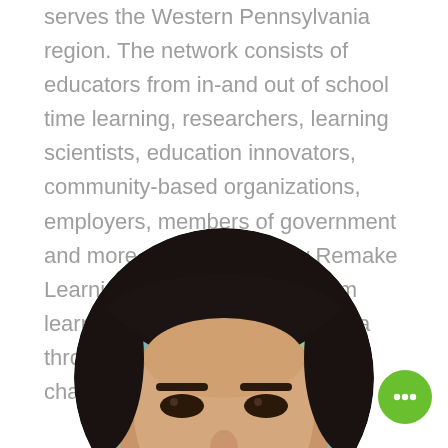serves the Western Pennsylvania region. The network consists of educators from in-and out of school time learning, researchers, learning scientists, education innovators, community-based organizations, employers, members of government and more. Come learn how Remake Learning is working to transform learning in Western Pennsylvania through a networked approach to changemaking.
[Figure (photo): Circular cropped headshot photo of a person with dark hair, showing the upper face including forehead and eyes, with a blurred colorful background.]